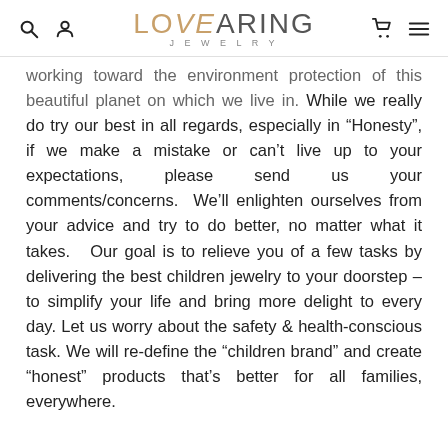LOVEARING JEWELRY
working toward the environment protection of this beautiful planet on which we live in.  While we really do try our best in all regards, especially in “Honesty”, if we make a mistake or can’t live up to your expectations, please send us your comments/concerns.  We’ll enlighten ourselves from your advice and try to do better, no matter what it takes.   Our goal is to relieve you of a few tasks by delivering the best children jewelry to your doorstep – to simplify your life and bring more delight to every day. Let us worry about the safety & health-conscious task. We will re-define the “children brand” and create “honest” products that’s better for all families, everywhere.